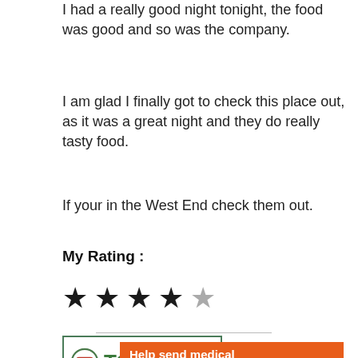I had a really good night tonight, the food was good and so was the company.
I am glad I finally got to check this place out, as it was a great night and they do really tasty food.
If your in the West End check them out.
My Rating :
[Figure (other): 4 out of 5 star rating: four filled black stars and one empty grey star]
[Figure (logo): TOTS100 logo in a green-bordered box with orange and green text]
[Figure (other): Orange advertisement banner: Help send medical aid to Ukraine >> with Direct Relief logo]